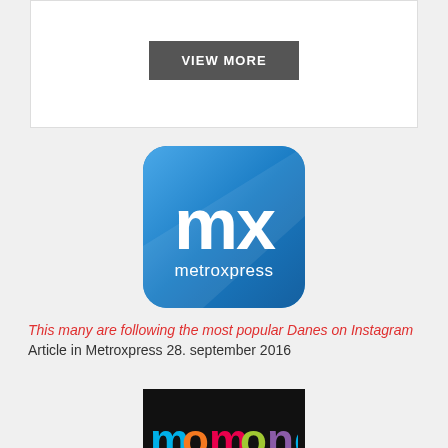[Figure (screenshot): A button labeled VIEW MORE with dark gray background and white bold uppercase text]
[Figure (logo): metroxpress logo: blue rounded square with 'mx' in large white letters and 'metroxpress' in smaller white text below]
This many are following the most popular Danes on Instagram Article in Metroxpress 28. september 2016
[Figure (logo): momondo logo: white text 'momondo' in colorful letters on black background]